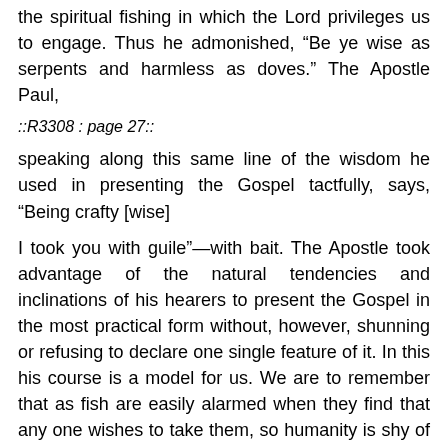the spiritual fishing in which the Lord privileges us to engage. Thus he admonished, “Be ye wise as serpents and harmless as doves.” The Apostle Paul,
::R3308 : page 27::
speaking along this same line of the wisdom he used in presenting the Gospel tactfully, says, “Being crafty [wise]
I took you with guile”—with bait. The Apostle took advantage of the natural tendencies and inclinations of his hearers to present the Gospel in the most practical form without, however, shunning or refusing to declare one single feature of it. In this his course is a model for us. We are to remember that as fish are easily alarmed when they find that any one wishes to take them, so humanity is shy of being captured by anything—especially if they have the least suspicion that they may lose